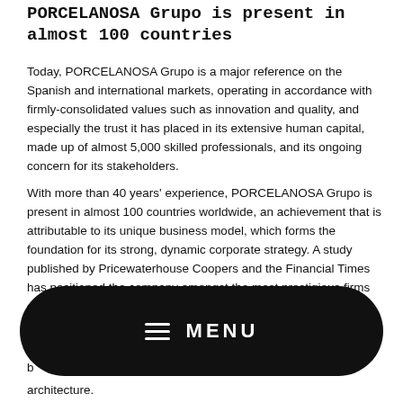PORCELANOSA Grupo is present in almost 100 countries
Today, PORCELANOSA Grupo is a major reference on the Spanish and international markets, operating in accordance with firmly-consolidated values such as innovation and quality, and especially the trust it has placed in its extensive human capital, made up of almost 5,000 skilled professionals, and its ongoing concern for its stakeholders.
With more than 40 years' experience, PORCELANOSA Grupo is present in almost 100 countries worldwide, an achievement that is attributable to its unique business model, which forms the foundation for its strong, dynamic corporate strategy. A study published by Pricewaterhouse Coopers and the Financial Times has positioned the company amongst the most prestigious firms on the global scene.
Production diversification has played a key role in the growth of a b[...] as[...] architecture.